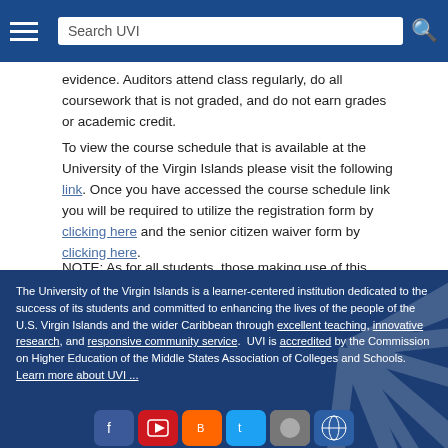Search UVI
evidence. Auditors attend class regularly, do all coursework that is not graded, and do not earn grades or academic credit.
To view the course schedule that is available at the University of the Virgin Islands please visit the following link. Once you have accessed the course schedule link you will be required to utilize the registration form by clicking here and the senior citizen waiver form by clicking here.
NOTE: As for all students, those making use of this benefit are required to observe the University regulations published in the catalog and other University publications.
The University of the Virgin Islands is a learner-centered institution dedicated to the success of its students and committed to enhancing the lives of the people of the U.S. Virgin Islands and the wider Caribbean through excellent teaching, innovative research, and responsive community service. UVI is accredited by the Commission on Higher Education of the Middle States Association of Colleges and Schools. Learn more about UVI ...